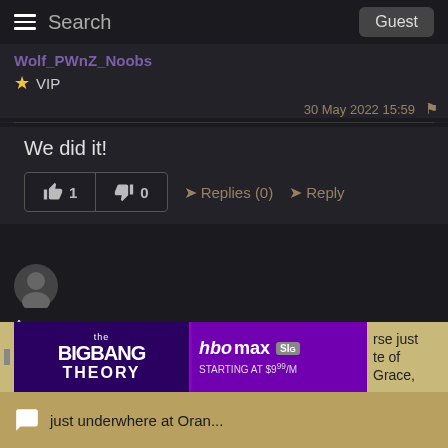Search  Guest
Wolf_PWnZ_Noobs
★ VIP
30 May 2022 15:59
We did it!
👍 1  👎 0  ➤Replies (0)  ➤Reply
[Figure (photo): Anonymous user avatar - dark silhouette icon]
Anonymous
30 May 2022 03:49
[Figure (screenshot): Advertisement banner: The Big Bang Theory on HBO Max starting at $9/month]
rse just te of Grace,
just underwhere at Oran...